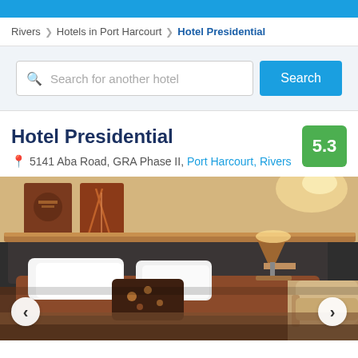Rivers > Hotels in Port Harcourt > Hotel Presidential
Search for another hotel | Search
Hotel Presidential
5.3
5141 Aba Road, GRA Phase II, Port Harcourt, Rivers
[Figure (photo): Hotel room interior showing a bed with white and brown pillows, dark headboard, warm lighting, a table lamp, leather chair on the right, and decorative artwork on the wall above the headboard.]